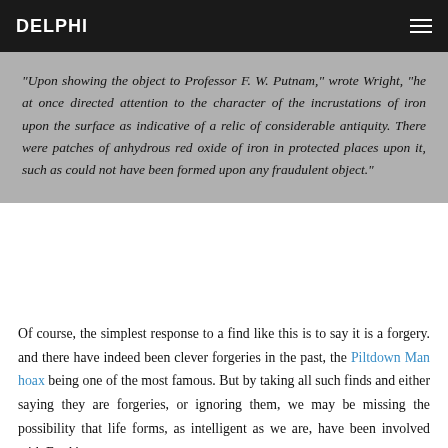DELPHI
"Upon showing the object to Professor F. W. Putnam," wrote Wright, "he at once directed attention to the character of the incrustations of iron upon the surface as indicative of a relic of considerable antiquity. There were patches of anhydrous red oxide of iron in protected places upon it, such as could not have been formed upon any fraudulent object."
Of course, the simplest response to a find like this is to say it is a forgery. and there have indeed been clever forgeries in the past, the Piltdown Man hoax being one of the most famous. But by taking all such finds and either saying they are forgeries, or ignoring them, we may be missing the possibility that life forms, as intelligent as we are, have been involved with Earth's